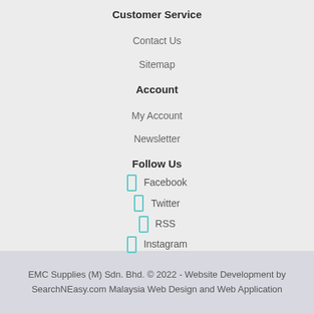Customer Service
Contact Us
Sitemap
Account
My Account
Newsletter
Follow Us
Facebook
Twitter
RSS
Instagram
EMC Supplies (M) Sdn. Bhd. © 2022 - Website Development by SearchNEasy.com Malaysia Web Design and Web Application